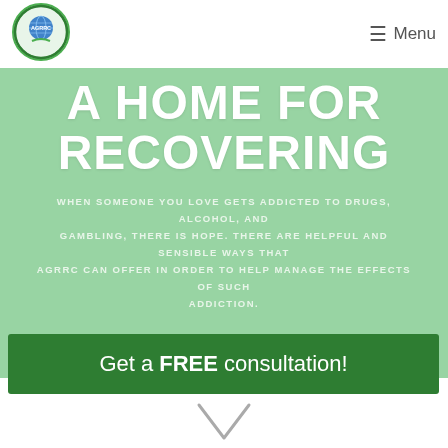[Figure (logo): AGRRC circular logo with globe and hands]
☰ Menu
A HOME FOR RECOVERING
WHEN SOMEONE YOU LOVE GETS ADDICTED TO DRUGS, ALCOHOL, AND GAMBLING, THERE IS HOPE. THERE ARE HELPFUL AND SENSIBLE WAYS THAT AGRRC CAN OFFER IN ORDER TO HELP MANAGE THE EFFECTS OF SUCH ADDICTION.
Get a FREE consultation!